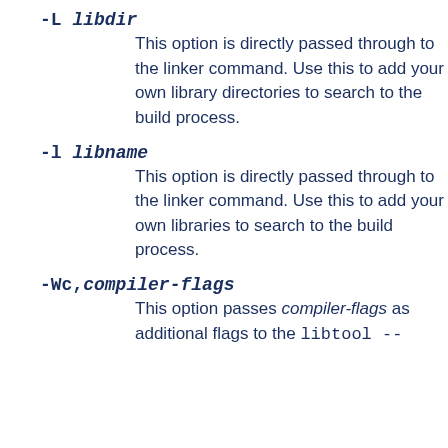-L libdir
This option is directly passed through to the linker command. Use this to add your own library directories to search to the build process.
-l libname
This option is directly passed through to the linker command. Use this to add your own libraries to search to the build process.
-Wc,compiler-flags
This option passes compiler-flags as additional flags to the libtool --